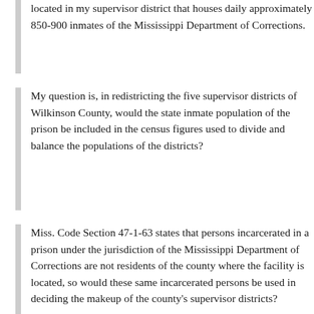located in my supervisor district that houses daily approximately 850-900 inmates of the Mississippi Department of Corrections.
My question is, in redistricting the five supervisor districts of Wilkinson County, would the state inmate population of the prison be included in the census figures used to divide and balance the populations of the districts?
Miss. Code Section 47-1-63 states that persons incarcerated in a prison under the jurisdiction of the Mississippi Department of Corrections are not residents of the county where the facility is located, so would these same incarcerated persons be used in deciding the makeup of the county's supervisor districts?